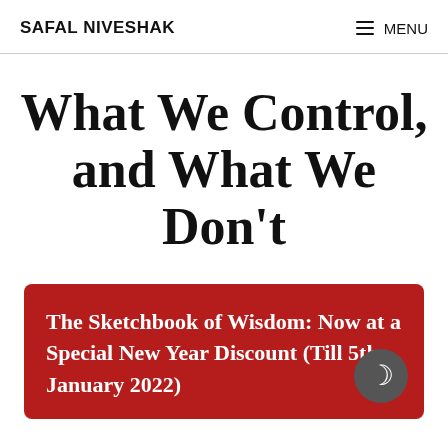SAFAL NIVESHAK
What We Control, and What We Don't
The Sketchbook of Wisdom: Now at a Special New Year Discount (Till 5th January 2022)